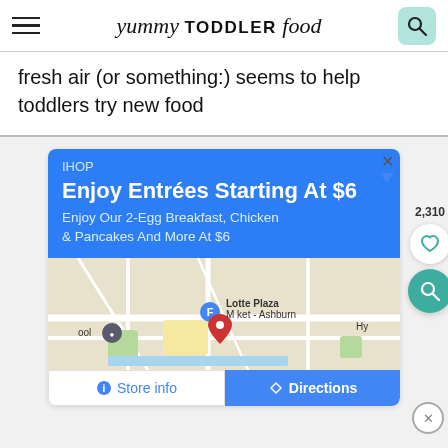yummy TODDLER food
fresh air (or something:) seems to help toddlers try new food
[Figure (screenshot): IHOP advertisement showing blue panel with text 'IHOP', 'Enjoy Entrées Starting At $6', 'Enjoy Our 2-Egg Breakfast, Chicken & Pancakes And More At $6', below is a Google Maps view showing Lotte Plaza Market - Ashburn location, with Store Info and Directions buttons at bottom]
2,310